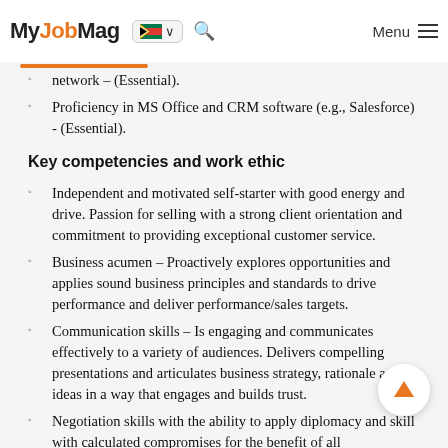MyJobMag
network – (Essential).
Proficiency in MS Office and CRM software (e.g., Salesforce) - (Essential).
Key competencies and work ethic
Independent and motivated self-starter with good energy and drive. Passion for selling with a strong client orientation and commitment to providing exceptional customer service.
Business acumen – Proactively explores opportunities and applies sound business principles and standards to drive performance and deliver performance/sales targets.
Communication skills – Is engaging and communicates effectively to a variety of audiences. Delivers compelling presentations and articulates business strategy, rationale and ideas in a way that engages and builds trust.
Negotiation skills with the ability to apply diplomacy and skill with calculated compromises for the benefit of all